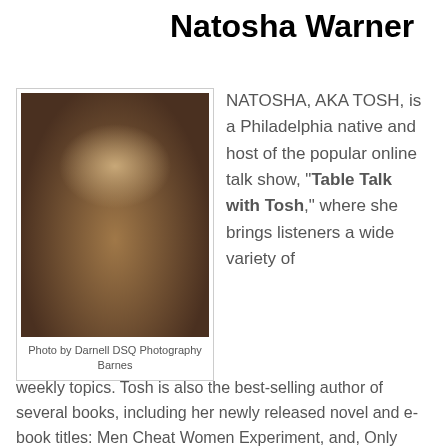Natosha Warner
[Figure (photo): Portrait photo of Natosha Warner, a woman with short stylish hair wearing a black top, with greenery in the background. Outdoor professional photography.]
Photo by Darnell DSQ Photography Barnes
NATOSHA, AKA TOSH, is a Philadelphia native and host of the popular online talk show, “Table Talk with Tosh,” where she brings listeners a wide variety of
weekly topics. Tosh is also the best-selling author of several books, including her newly released novel and e-book titles: Men Cheat Women Experiment, and, Only Fools Gamble Twice. She is a co-author of Weight Broke the Wagon, in which she and two friends discuss how they collectively lost over 300